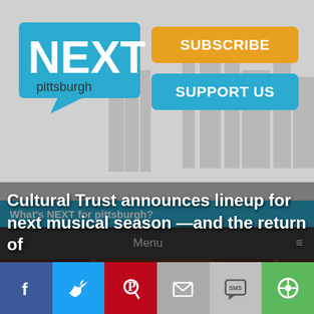[Figure (logo): NEXT pittsburgh logo — speech bubble shape in cyan/blue with white NEXT text and 'pittsburgh' in small dark text below]
[Figure (other): Orange SUBSCRIBE button and cyan SUPPORT US button in top-right of header]
[Figure (other): Cyan navigation bar with white text 'What's NEXT for pittsburgh?']
[Figure (other): Dark gray menu bar with 'Menu' text centered and hamburger icon on right]
[Figure (photo): Stage photo from Hamilton musical showing multiple actors in Revolutionary War era costumes on a theatrical stage set]
Cultural Trust announces lineup for next musical season —and the return of
[Figure (other): Social sharing bar with icons for Facebook, Twitter, Pinterest, Email, SMS, and ShareThis]